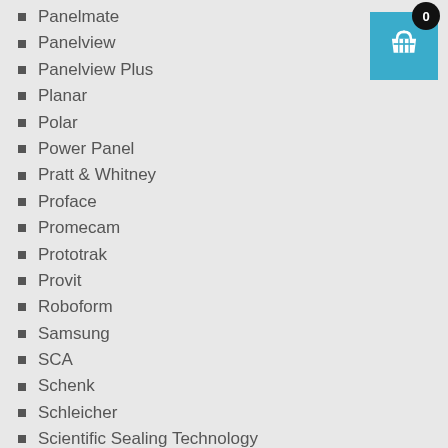Panelmate
Panelview
Panelview Plus
Planar
Polar
Power Panel
Pratt & Whitney
Proface
Promecam
Prototrak
Provit
Roboform
Samsung
SCA
Schenk
Schleicher
Scientific Sealing Technology
Selti
[Figure (other): Shopping cart widget with badge showing 0, teal square background with white basket icon]